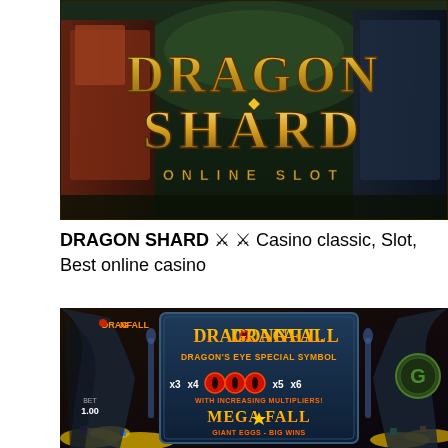[Figure (illustration): Dragon Shard Online Slot promotional image featuring two fantasy characters and the title text 'DRAGON SHARD ONLINE SLOT' in large gold letters on a dark fantasy background.]
DRAGON SHARD ⚔ ⚔ Casino classic, Slot, Best online casino
[Figure (screenshot): Dragonfall slot game screenshot showing the Dragonfall logo, Dragon's Eye Special Symbol with x3 x4 x5 x6 multipliers, Mega Fall Giant Eggs Big Wins feature, BET 1.00, with dragons and gold coins on a dark fantasy background.]